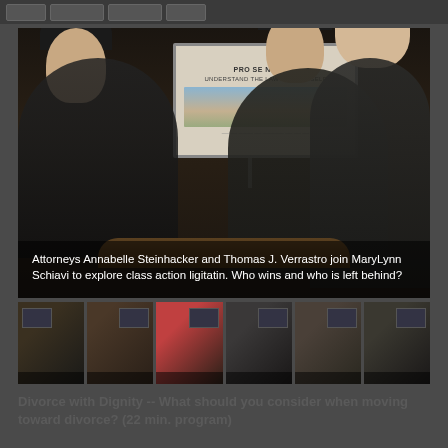[Figure (screenshot): Video player toolbar with navigation buttons at the top]
[Figure (screenshot): Main video frame showing three people: two women and a man seated around a table in a studio setting. A monitor in the background displays 'PRO SE NATION: UNDERSTAND THE LAW FOR ONESELF'. Text overlay reads: Attorneys Annabelle Steinhacker and Thomas J. Verrastro join MaryLynn Schiavi to explore class action ligitatin. Who wins and who is left behind?]
Attorneys Annabelle Steinhacker and Thomas J. Verrastro join MaryLynn Schiavi to explore class action ligitatin. Who wins and who is left behind?
[Figure (screenshot): Thumbnail strip of 6 video still images from related episodes]
Divorce with Dignity -- What should you consider when moving toward divorce? (22 min. program)